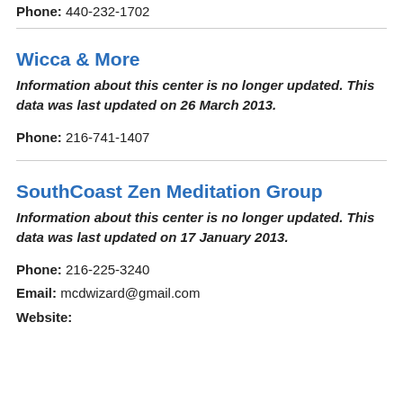Phone: 440-232-1702
Wicca & More
Information about this center is no longer updated. This data was last updated on 26 March 2013.
Phone: 216-741-1407
SouthCoast Zen Meditation Group
Information about this center is no longer updated. This data was last updated on 17 January 2013.
Phone: 216-225-3240
Email: mcdwizard@gmail.com
Website: